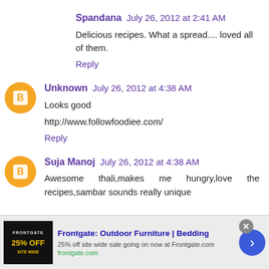Spandana  July 26, 2012 at 2:41 AM
Delicious recipes. What a spread.... loved all of them.
Reply
Unknown  July 26, 2012 at 4:38 AM
Looks good
http://www.followfoodiee.com/
Reply
Suja Manoj  July 26, 2012 at 4:38 AM
Awesome thali,makes me hungry,love the recipes,sambar sounds really unique
[Figure (infographic): Frontgate advertisement banner: 25% off site wide sale. Shows Frontgate logo image on left, ad text in center, close button and arrow navigation button.]